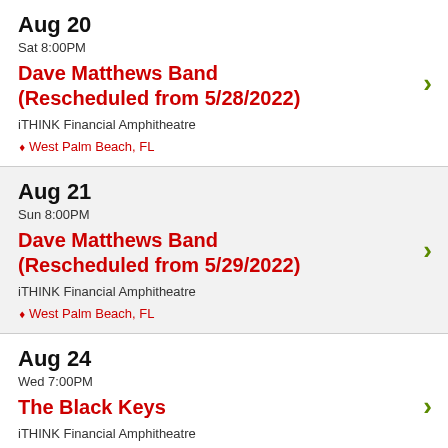Aug 20
Sat 8:00PM
Dave Matthews Band (Rescheduled from 5/28/2022)
iTHINK Financial Amphitheatre
West Palm Beach, FL
Aug 21
Sun 8:00PM
Dave Matthews Band (Rescheduled from 5/29/2022)
iTHINK Financial Amphitheatre
West Palm Beach, FL
Aug 24
Wed 7:00PM
The Black Keys
iTHINK Financial Amphitheatre
West Palm Beach, FL